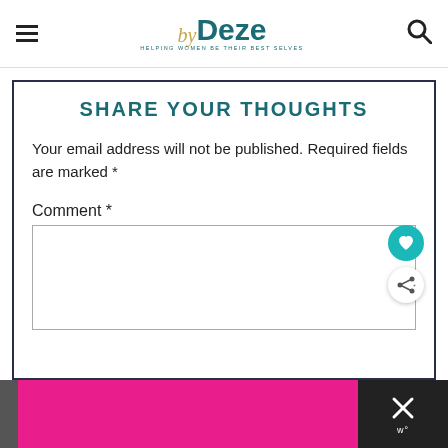byDeze — HELPING WOMEN BE THEIR BEST SELVES
SHARE YOUR THOUGHTS
Your email address will not be published. Required fields are marked *
Comment *